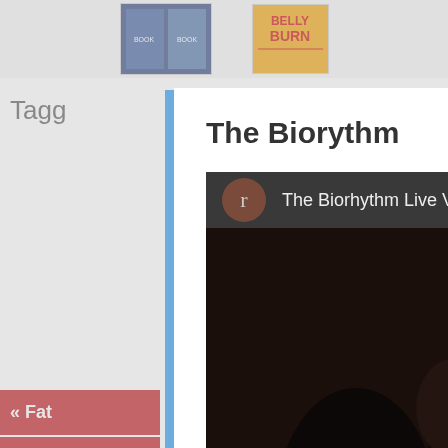[Figure (screenshot): Background web page showing book cover images at top]
Tagg
« Fat
Sign
The Biorythm
[Figure (screenshot): YouTube video thumbnail showing 'The Biorhythm Live VS...' with play button and crowd scene]
Want to know More
Click here